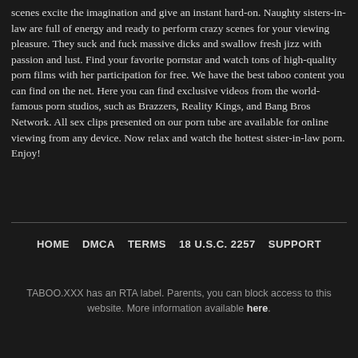scenes excite the imagination and give an instant hard-on. Naughty sisters-in-law are full of energy and ready to perform crazy scenes for your viewing pleasure. They suck and fuck massive dicks and swallow fresh jizz with passion and lust. Find your favorite pornstar and watch tons of high-quality porn films with her participation for free. We have the best taboo content you can find on the net. Here you can find exclusive videos from the world-famous porn studios, such as Brazzers, Reality Kings, and Bang Bros Network. All sex clips presented on our porn tube are available for online viewing from any device. Now relax and watch the hottest sister-in-law porn. Enjoy!
HOME   DMCA   TERMS   18 U.S.C. 2257   SUPPORT
TABOO.XXX has an RTA label. Parents, you can block access to this website. More information available here.